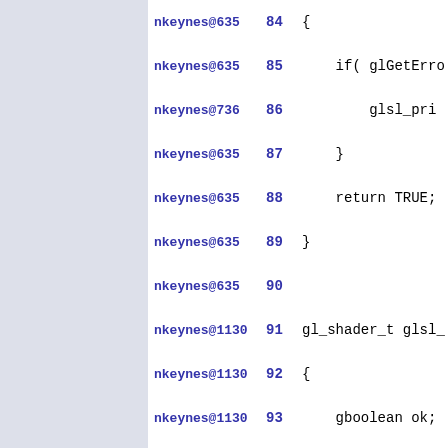nkeynes@635  84 {
nkeynes@635  85     if( glGetErro
nkeynes@736  86         glsl_prin
nkeynes@635  87     }
nkeynes@635  88     return TRUE;
nkeynes@635  89 }
nkeynes@635  90
nkeynes@1130  91 gl_shader_t glsl_
nkeynes@1130  92 {
nkeynes@1130  93     gboolean ok;